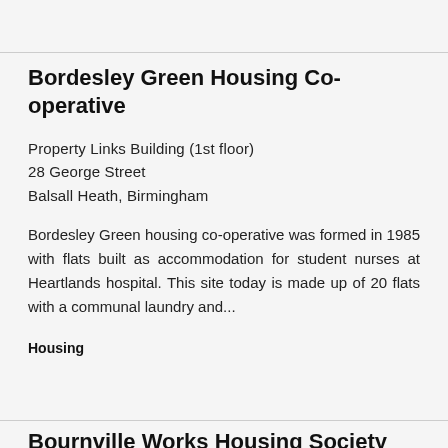Bordesley Green Housing Co-operative
Property Links Building (1st floor)
28 George Street
Balsall Heath, Birmingham
Bordesley Green housing co-operative was formed in 1985 with flats built as accommodation for student nurses at Heartlands hospital. This site today is made up of 20 flats with a communal laundry and...
Housing
Bournville Works Housing Society